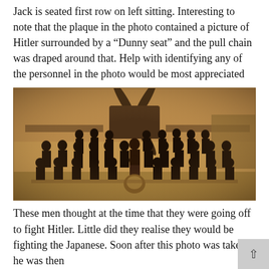Jack is seated first row on left sitting. Interesting to note that the plaque in the photo contained a picture of Hitler surrounded by a “Dunny seat” and the pull chain was draped around that. Help with identifying any of the personnel in the photo would be most appreciated
[Figure (photo): Sepia-toned group photograph of approximately 30 uniformed men (likely WWII-era airmen) posed in front of an aircraft propeller. Men are arranged in three rows — back row standing, middle row standing, front row seated on chairs. A plaque or shield is visible in the front center.]
These men thought at the time that they were going off to fight Hitler. Little did they realise they would be fighting the Japanese. Soon after this photo was taken, he was then